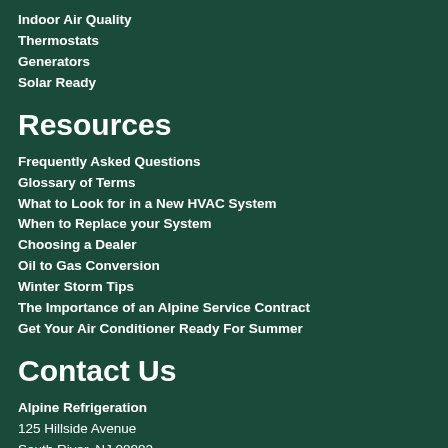Indoor Air Quality
Thermostats
Generators
Solar Ready
Resources
Frequently Asked Questions
Glossary of Terms
What to Look for in a New HVAC System
When to Replace your System
Choosing a Dealer
Oil to Gas Conversion
Winter Storm Tips
The Importance of an Alpine Service Contract
Get Your Air Conditioner Ready For Summer
Contact Us
Alpine Refrigeration
125 Hillside Avenue
South River, NJ 08882
(732) 238-9300
(732) 238-7220 fax